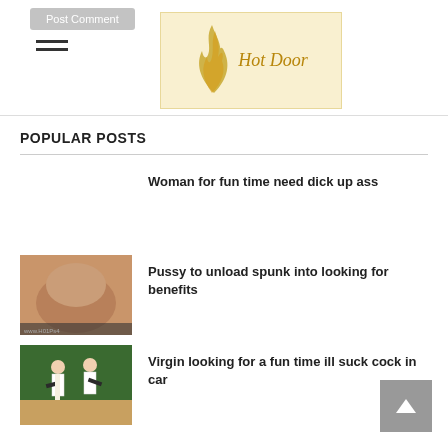Post Comment | Hot Door logo
POPULAR POSTS
Woman for fun time need dick up ass
[Figure (photo): Thumbnail image of skin/body]
Pussy to unload spunk into looking for benefits
[Figure (photo): Karate practitioners in white uniforms practicing in a gymnasium]
Virgin looking for a fun time ill suck cock in car